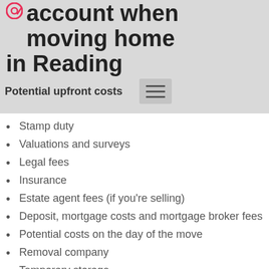account when moving home in Reading
Potential upfront costs
Stamp duty
Valuations and surveys
Legal fees
Insurance
Estate agent fees (if you're selling)
Deposit, mortgage costs and mortgage broker fees
Potential costs on the day of the move
Removal company
Temporary storage
Redirecting your main
Move-out clean
Settling in to your new home in Reading
The cost of a £60,000 mortgage is you're looking t…